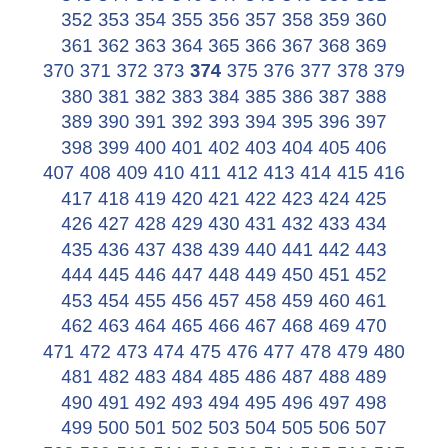334 335 336 337 338 339 340 341 342 343 344 345 346 347 348 349 350 351 352 353 354 355 356 357 358 359 360 361 362 363 364 365 366 367 368 369 370 371 372 373 374 375 376 377 378 379 380 381 382 383 384 385 386 387 388 389 390 391 392 393 394 395 396 397 398 399 400 401 402 403 404 405 406 407 408 409 410 411 412 413 414 415 416 417 418 419 420 421 422 423 424 425 426 427 428 429 430 431 432 433 434 435 436 437 438 439 440 441 442 443 444 445 446 447 448 449 450 451 452 453 454 455 456 457 458 459 460 461 462 463 464 465 466 467 468 469 470 471 472 473 474 475 476 477 478 479 480 481 482 483 484 485 486 487 488 489 490 491 492 493 494 495 496 497 498 499 500 501 502 503 504 505 506 507 508 509 510 511 512 513 514 515 516 517 518 519 520 521 522 523 ...